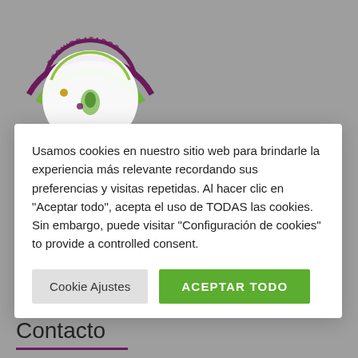[Figure (logo): Circular logo with purple and green arcs, text 'DESHIDRATADOS' along the top arc, food/leaf imagery inside]
[Figure (illustration): Row of social media icons: Instagram outline, Facebook (black square), LinkedIn (black square), YouTube (black square)]
Contacto
Usamos cookies en nuestro sitio web para brindarle la experiencia más relevante recordando sus preferencias y visitas repetidas. Al hacer clic en "Aceptar todo", acepta el uso de TODAS las cookies. Sin embargo, puede visitar "Configuración de cookies" to provide a controlled consent.
Cookie Ajustes
ACEPTAR TODO